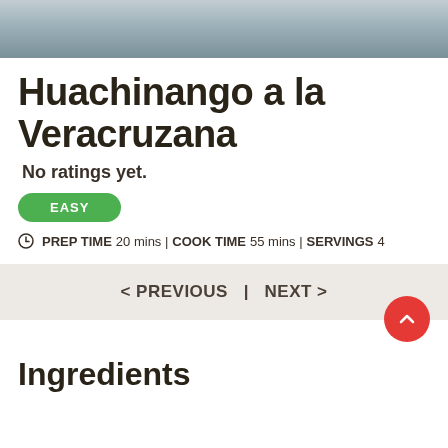[Figure (photo): Partial photo of what appears to be a building or vehicle with blue-grey metal surface]
Huachinango a la Veracruzana
No ratings yet.
EASY
PREP TIME 20 mins | COOK TIME 55 mins | SERVINGS 4
< PREVIOUS   |   NEXT >
Ingredients